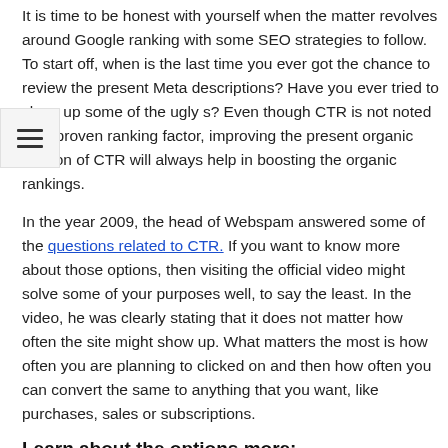It is time to be honest with yourself when the matter revolves around Google ranking with some SEO strategies to follow. To start off, when is the last time you ever got the chance to review the present Meta descriptions? Have you ever tried to clean up some of the ugly s? Even though CTR is not noted as a proven ranking factor, improving the present organic version of CTR will always help in boosting the organic rankings.
In the year 2009, the head of Webspam answered some of the questions related to CTR. If you want to know more about those options, then visiting the official video might solve some of your purposes well, to say the least. In the video, he was clearly stating that it does not matter how often the site might show up. What matters the most is how often you are planning to clicked on and then how often you can convert the same to anything that you want, like purchases, sales or subscriptions.
Learn about the options more: